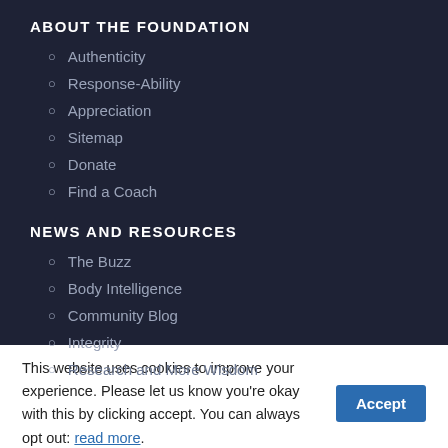ABOUT THE FOUNDATION
Authenticity
Response-Ability
Appreciation
Sitemap
Donate
Find a Coach
NEWS AND RESOURCES
The Buzz
Body Intelligence
Community Blog
Integrity
Research and More Wisdom
This website uses cookies to improve your experience. Please let us know you're okay with this by clicking accept. You can always opt out: read more.